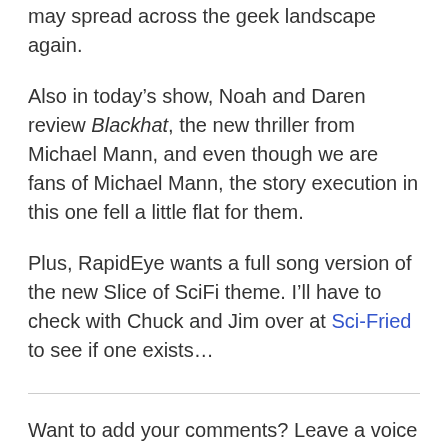may spread across the geek landscape again.
Also in today’s show, Noah and Daren review Blackhat, the new thriller from Michael Mann, and even though we are fans of Michael Mann, the story execution in this one fell a little flat for them.
Plus, RapidEye wants a full song version of the new Slice of SciFi theme. I’ll have to check with Chuck and Jim over at Sci-Fried to see if one exists…
Want to add your comments? Leave a voice message at 602-635-6976, or just email Summer